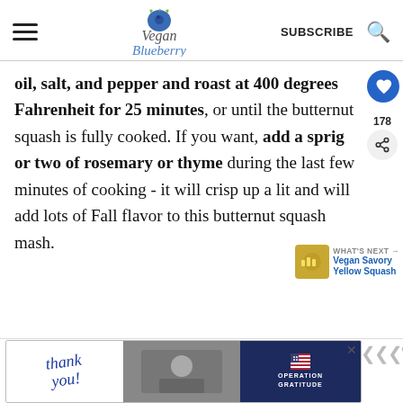Vegan Blueberry | SUBSCRIBE
oil, salt, and pepper and roast at 400 degrees Fahrenheit for 25 minutes, or until the butternut squash is fully cooked. If you want, add a sprig or two of rosemary or thyme during the last few minutes of cooking - it will crisp up a lit and will add lots of Fall flavor to this butternut squash mash.
[Figure (other): Ad banner: Thank you with Operation Gratitude military image]
Advertisement